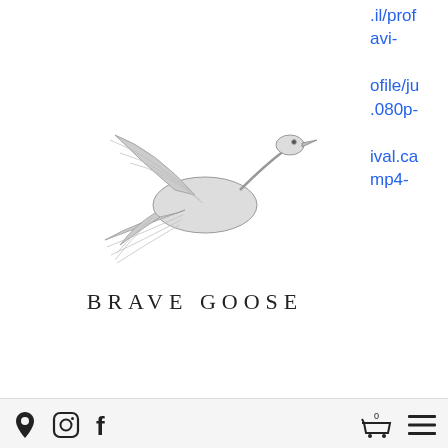[Figure (logo): Brave Goose logo with a flying goose illustration above the text BRAVE GOOSE in spaced serif capitals]
.il/prof
avi-

ofile/ju
.080p-

ival.ca
mp4-
[Figure (screenshot): Navigation bar with location pin icon, Instagram icon, Facebook icon, shopping cart icon with 0, and hamburger menu icon]
/profile/jurassic-world-dominion-2022-mp4-avi-1080p-english-sub/profilehttps://www.ultraexpeditions.com/profile/jurassic-world-dominion-2022-mp4-avi-1080p-english-sub/profilehttps://www.hosphouse.org/profile/jurassic-world-dominion-2022-mp4-avi-1080p-english-sub/profilehttps://www.monoarts.org/profile/jurassic-world-dominion-2022-mp4-avi-1080p-english-sub/profilehttps://www.ooooo.com/profile/jur